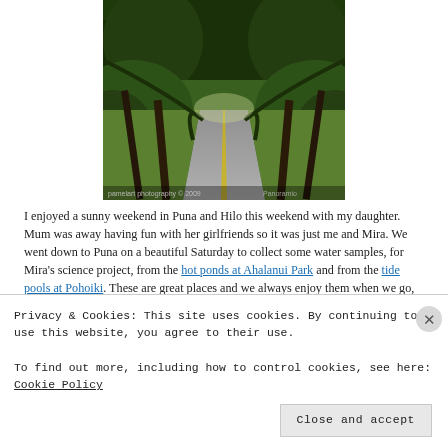[Figure (photo): A tree-tunneled road in Puna, Hawaii, with lush green overhanging trees creating a canopy over a winding road. Photo credit text visible at the bottom.]
I enjoyed a sunny weekend in Puna and Hilo this weekend with my daughter. Mum was away having fun with her girlfriends so it was just me and Mira. We went down to Puna on a beautiful Saturday to collect some water samples, for Mira's science project, from the hot ponds at Ahalanui Park and from the tide pools at Pohoiki. These are great places and we always enjoy them when we go, but for me the highlight is always driving through the countryside and especially the tree tunneled road.
Privacy & Cookies: This site uses cookies. By continuing to use this website, you agree to their use.
To find out more, including how to control cookies, see here: Cookie Policy